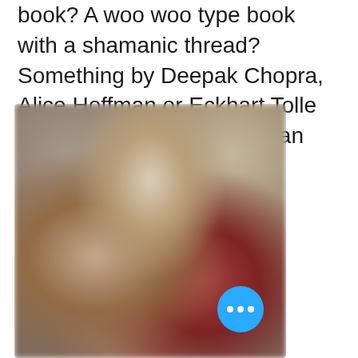book? A woo woo type book with a shamanic thread? Something by Deepak Chopra, Alice Hoffman or Eckhart Tolle maybe? Or are we talking an actual novel?
[Figure (photo): Blurred photograph of books or items on a surface/shelf with warm tones of red, tan, and brown, partially in focus. A blue circular button with three white dots (ellipsis/more options) is overlaid in the bottom-right corner of the image.]